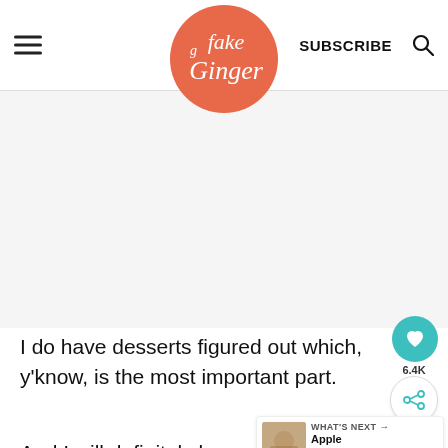fake ginger — SUBSCRIBE
[Figure (other): Advertisement / blank gray area]
I do have desserts figured out which, y'know, is the most important part.
And I will definitely be making these Cranberry Brie Bites! They are the
[Figure (other): WHAT'S NEXT → Apple Cranberry... thumbnail widget]